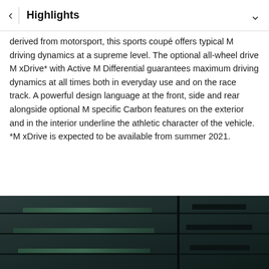Highlights
derived from motorsport, this sports coupé offers typical M driving dynamics at a supreme level. The optional all-wheel drive M xDrive* with Active M Differential guarantees maximum driving dynamics at all times both in everyday use and on the race track. A powerful design language at the front, side and rear alongside optional M specific Carbon features on the exterior and in the interior underline the athletic character of the vehicle. *M xDrive is expected to be available from summer 2021.
[Figure (photo): Close-up photo of a car roof or body panel, showing dark carbon/metal panels with horizontal lines and structural seams. Dark teal/green tones visible.]